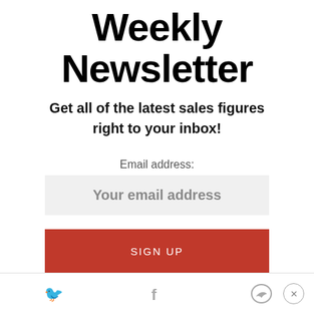Weekly Newsletter
Get all of the latest sales figures right to your inbox!
Email address:
Your email address
SIGN UP
[Figure (other): Social media icons: Twitter bird, Facebook f, Messenger logo; and a close (X) button in a circle]